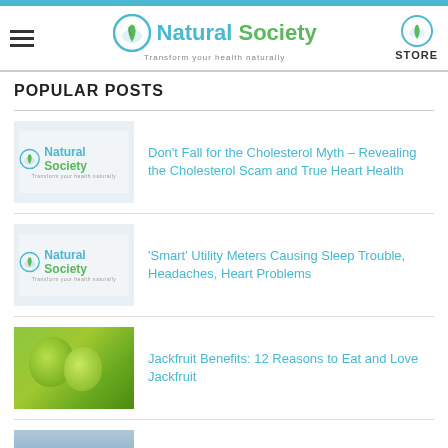Natural Society – Transform your health naturally
POPULAR POSTS
Don't Fall for the Cholesterol Myth – Revealing the Cholesterol Scam and True Heart Health
'Smart' Utility Meters Causing Sleep Trouble, Headaches, Heart Problems
Jackfruit Benefits: 12 Reasons to Eat and Love Jackfruit
US Intelligence Director Says Genome Editing